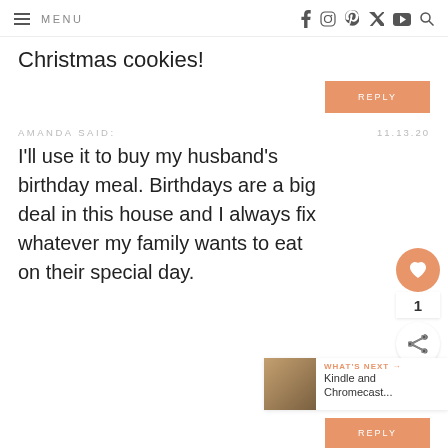MENU | f  ig  p  y  yt  search
Christmas cookies!
REPLY
AMANDA SAID:   11.13.20
I'll use it to buy my husband's birthday meal. Birthdays are a big deal in this house and I always fix whatever my family wants to eat on their special day.
REPLY